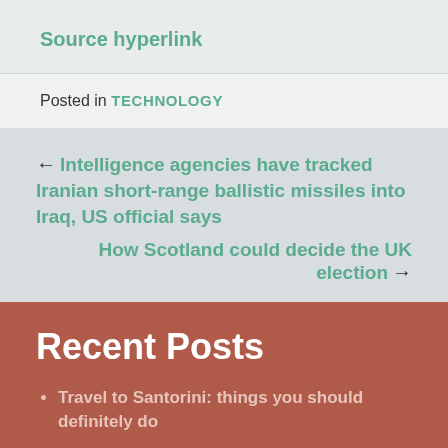Source hyperlink
Posted in TECHNOLOGY
← Intelligence agencies have tracked Iranian short-range ballistic missiles into Iraq, US official says
How Scotland could decide the UK election →
Recent Posts
Travel to Santorini: things you should definitely do